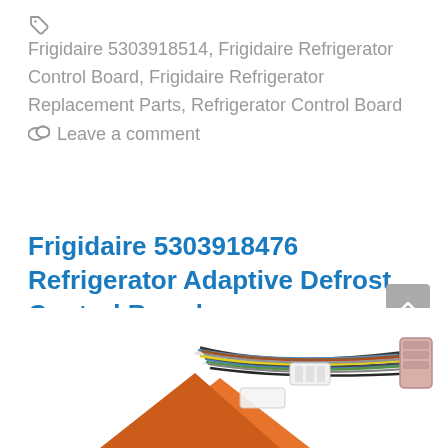🏷 Frigidaire 5303918514, Frigidaire Refrigerator Control Board, Frigidaire Refrigerator Replacement Parts, Refrigerator Control Board
💬 Leave a comment
Frigidaire 5303918476 Refrigerator Adaptive Defrost Control Board
October 4, 2020 by Apartso
[Figure (photo): Photo of a refrigerator adaptive defrost control board with colorful wiring harness and connectors, partially visible at bottom of page]